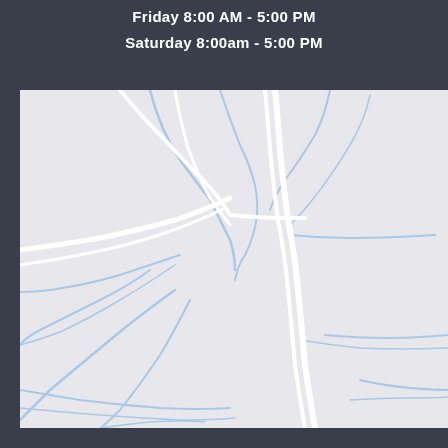Friday 8:00 AM - 5:00 PM
Saturday 8:00am - 5:00 PM
[Figure (map): A light gray road map showing white roads/highways and blue water features (rivers/streams) converging near a central area. The main white road curves vertically through the center-right portion of the map. Blue lines representing waterways branch out from the center-left area, extending in multiple directions.]